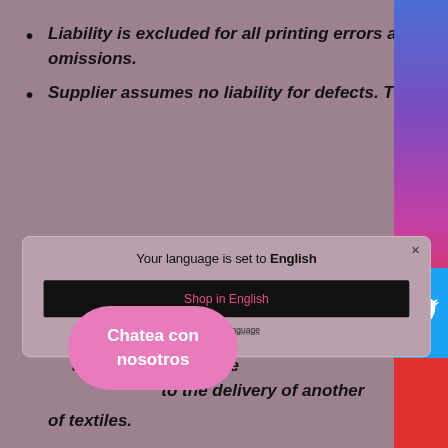Liability is excluded for all printing errors and omissions.
Supplier assumes no liability for defects. This
[Figure (screenshot): Modal dialog popup showing 'Your language is set to English' with a black 'Shop in English' button and 'Change language' link. Background shows a decorative gradient bar on the right side.]
Coronaholic Shop is not responsible for the textile caused by the [...] to the delivery of another of textiles.
Chatea con nosotros